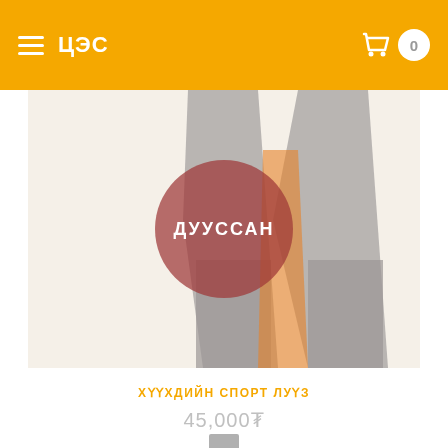ЦЭС
[Figure (illustration): Product listing image showing abstract geometric shapes (gray M-shape, peach/orange pentagon, red circle) on light beige background with ДУУССАН (sold out) overlay circle]
ХҮҮХДИЙН СПОРТ ЛУҮЗ
45,000₮